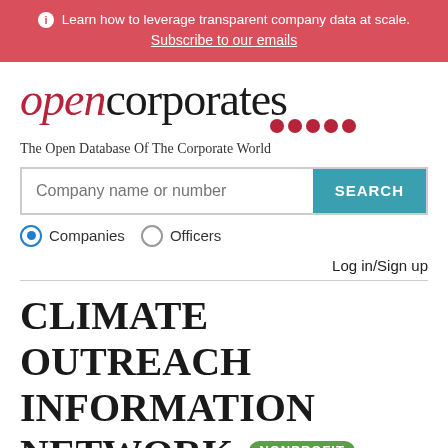ℹ Learn how to leverage transparent company data at scale. Subscribe to our emails
[Figure (logo): OpenCorporates logo: 'open' in italic red serif, 'corporates' in black serif, with decorative red dots below]
The Open Database Of The Corporate World
Company name or number [search input] SEARCH
● Companies ○ Officers
Log in/Sign up
CLIMATE OUTREACH INFORMATION NETWORK NONPROFIT